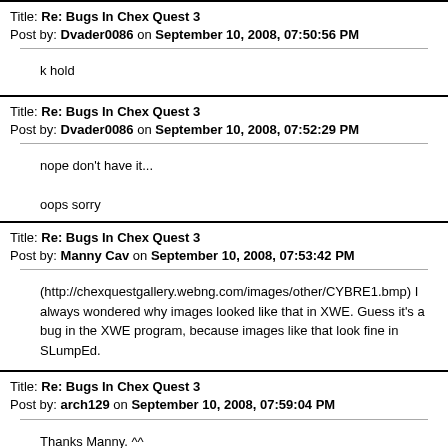Title: Re: Bugs In Chex Quest 3
Post by: Dvader0086 on September 10, 2008, 07:50:56 PM
k hold
Title: Re: Bugs In Chex Quest 3
Post by: Dvader0086 on September 10, 2008, 07:52:29 PM
nope don't have it...

oops sorry
Title: Re: Bugs In Chex Quest 3
Post by: Manny Cav on September 10, 2008, 07:53:42 PM
(http://chexquestgallery.webng.com/images/other/CYBRE1.bmp) I always wondered why images looked like that in XWE. Guess it's a bug in the XWE program, because images like that look fine in SLumpEd.
Title: Re: Bugs In Chex Quest 3
Post by: arch129 on September 10, 2008, 07:59:04 PM
Thanks Manny. ^^